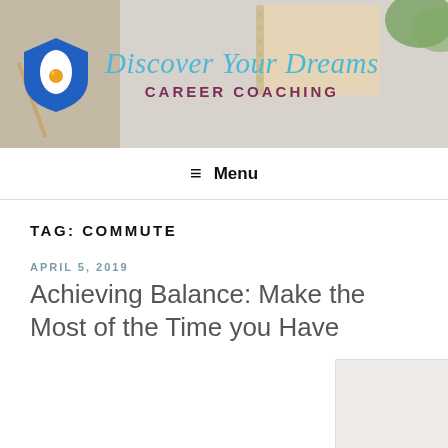[Figure (illustration): Website header banner with marble/desk background, blue shield logo with egg icon on left, script text 'Discover Your Dreams' in light blue and 'Career Coaching' in dark purple bold caps]
≡ Menu
TAG: COMMUTE
APRIL 5, 2019
Achieving Balance: Make the Most of the Time you Have